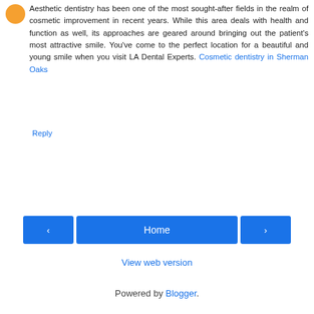Aesthetic dentistry has been one of the most sought-after fields in the realm of cosmetic improvement in recent years. While this area deals with health and function as well, its approaches are geared around bringing out the patient's most attractive smile. You've come to the perfect location for a beautiful and young smile when you visit LA Dental Experts. Cosmetic dentistry in Sherman Oaks
Reply
< Home > View web version
Powered by Blogger.